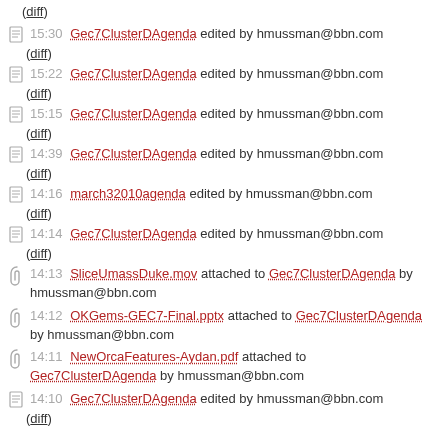(diff)
15:30 Gec7ClusterDAgenda edited by hmussman@bbn.com (diff)
15:22 Gec7ClusterDAgenda edited by hmussman@bbn.com (diff)
15:15 Gec7ClusterDAgenda edited by hmussman@bbn.com (diff)
14:39 Gec7ClusterDAgenda edited by hmussman@bbn.com (diff)
14:16 march32010agenda edited by hmussman@bbn.com (diff)
14:14 Gec7ClusterDAgenda edited by hmussman@bbn.com (diff)
14:13 SliceUmassDuke.mov attached to Gec7ClusterDAgenda by hmussman@bbn.com
14:12 OKGems-GEC7-Final.pptx attached to Gec7ClusterDAgenda by hmussman@bbn.com
14:11 NewOrcaFeatures-Aydan.pdf attached to Gec7ClusterDAgenda by hmussman@bbn.com
14:10 Gec7ClusterDAgenda edited by hmussman@bbn.com (diff)